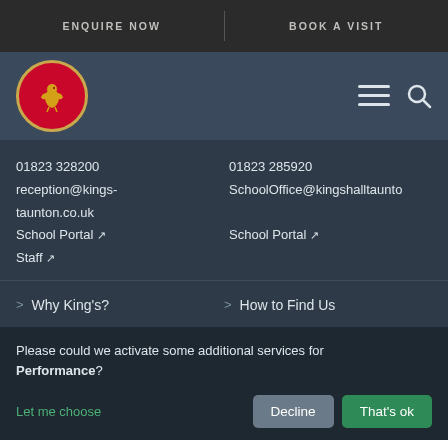ENQUIRE NOW | BOOK A VISIT
[Figure (logo): King's Hall Taunton school crest — red circle with gold border, bird emblem]
01823 328200
reception@kings-taunton.co.uk
School Portal
Staff
01823 285920
SchoolOffice@kingshalltaunton
School Portal
> Why King's?
> How to Find Us
Please could we activate some additional services for Performance?
Let me choose
Decline
That's ok